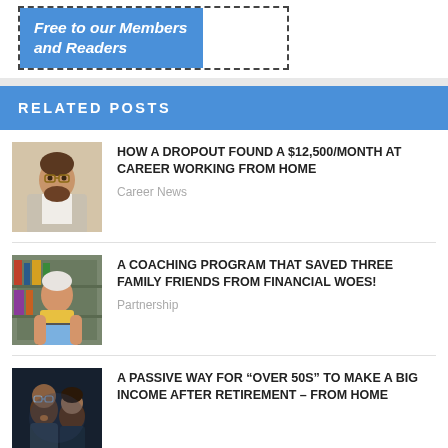[Figure (other): Promotional banner with dashed border containing blue box with text 'Free to our Members and Readers' in white bold italic, with white space to the right]
RELATED POSTS
[Figure (photo): Professional man with beard in light grey suit jacket]
HOW A DROPOUT FOUND A $12,500/MONTH AT CAREER WORKING FROM HOME
Career News
[Figure (photo): Elderly man in yellow shirt using a laptop]
A COACHING PROGRAM THAT SAVED THREE FAMILY FRIENDS FROM FINANCIAL WOES!
Partnership
[Figure (photo): Couple looking at something together in dark lighting]
A PASSIVE WAY FOR “OVER 50S” TO MAKE A BIG INCOME AFTER RETIREMENT – FROM HOME